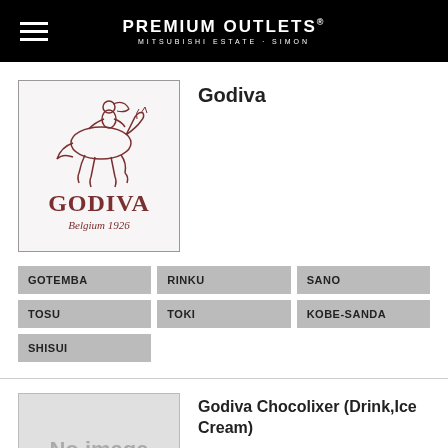PREMIUM OUTLETS MITSUBISHI ESTATE · SIMON
[Figure (logo): Godiva Belgium 1926 logo with horse and rider illustration]
Godiva
GOTEMBA
RINKU
SANO
TOSU
TOKI
KOBE-SANDA
SHISUI
[Figure (other): No image placeholder box]
Godiva Chocolixer (Drink,Ice Cream)